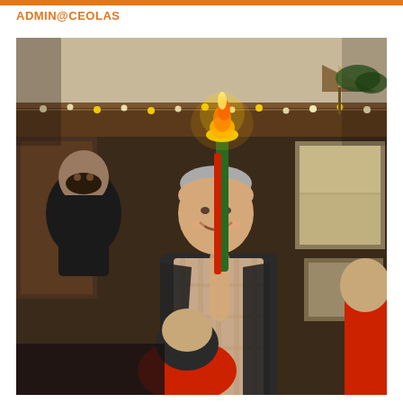ADMIN@CEOLAS
[Figure (photo): Indoor scene in a pub or restaurant with Christmas lights. A smiling middle-aged man in a plaid shirt and dark blazer holds up a burning torch or flaming item. A young child in a red hoodie is visible in the foreground, and another man in a black jacket stands to the left. Decorative ship model and framed pictures visible in background.]